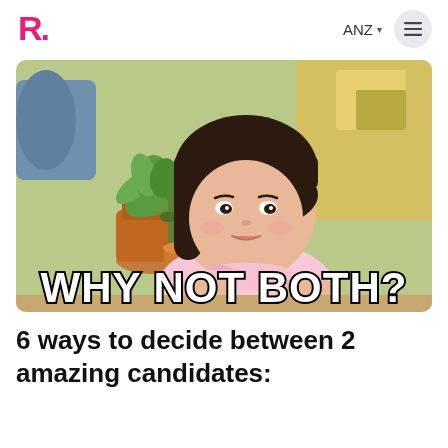ANZ
[Figure (photo): A young Asian girl with a bob haircut sitting behind a table with potted succulent plants in the background, with bold white text at the bottom reading 'WHY NOT BOTH?']
6 ways to decide between 2 amazing candidates: